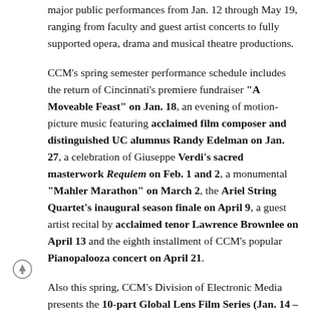major public performances from Jan. 12 through May 19, ranging from faculty and guest artist concerts to fully supported opera, drama and musical theatre productions.
CCM's spring semester performance schedule includes the return of Cincinnati's premiere fundraiser "A Moveable Feast" on Jan. 18, an evening of motion-picture music featuring acclaimed film composer and distinguished UC alumnus Randy Edelman on Jan. 27, a celebration of Giuseppe Verdi's sacred masterwork Requiem on Feb. 1 and 2, a monumental "Mahler Marathon" on March 2, the Ariel String Quartet's inaugural season finale on April 9, a guest artist recital by acclaimed tenor Lawrence Brownlee on April 13 and the eighth installment of CCM's popular Pianopalooza concert on April 21.
Also this spring, CCM's Division of Electronic Media presents the 10-part Global Lens Film Series (Jan. 14 – April 15), Cincinnati Children's Choir celebrates its 20th anniversary (March 9), the Classical Guitar Department celebrates its 40th anniversary (April 6) and CCM's year-